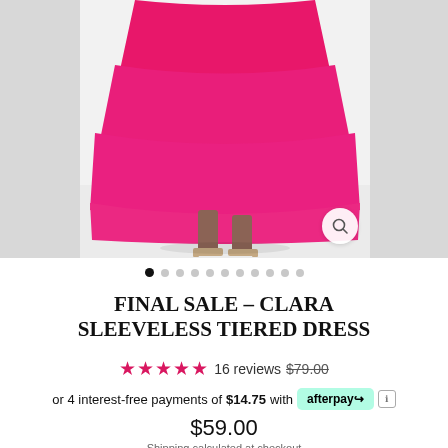[Figure (photo): Model wearing a bright pink (fuchsia) sleeveless tiered midi dress, photo cropped to show dress hem, legs and heeled sandals. White studio background. Magnify icon in bottom right.]
FINAL SALE – CLARA SLEEVELESS TIERED DRESS
★★★★★ 16 reviews $79.00
or 4 interest-free payments of $14.75 with afterpay ℹ
$59.00
Shipping calculated at checkout